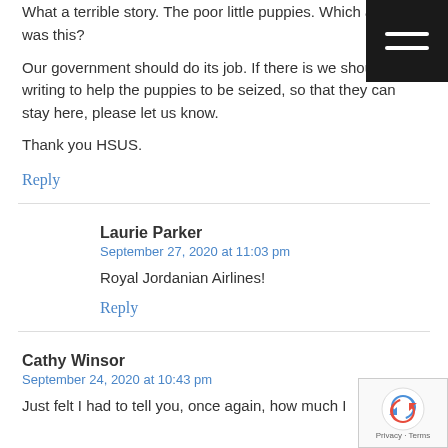What a terrible story. The poor little puppies. Which airline was this?
Our government should do its job. If there is we should be writing to help the puppies to be seized, so that they can stay here, please let us know.
Thank you HSUS.
Reply
Laurie Parker
September 27, 2020 at 11:03 pm
Royal Jordanian Airlines!
Reply
Cathy Winsor
September 24, 2020 at 10:43 pm
Just felt I had to tell you, once again, how much I